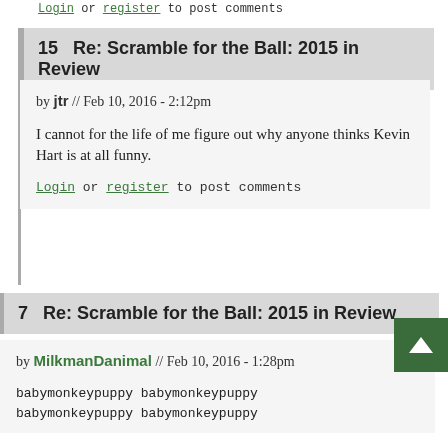Login or register to post comments
15   Re: Scramble for the Ball: 2015 in Review
by jtr // Feb 10, 2016 - 2:12pm
I cannot for the life of me figure out why anyone thinks Kevin Hart is at all funny.
Login or register to post comments
7   Re: Scramble for the Ball: 2015 in Review
by MilkmanDanimal // Feb 10, 2016 - 1:28pm
babymonkeypuppy babymonkeypuppy babymonkeypuppy babymonkeypuppy